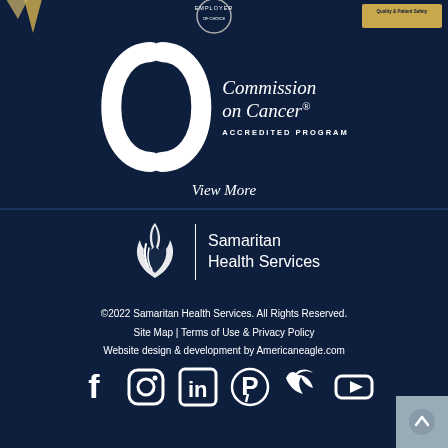[Figure (logo): Commission on Cancer Accredited Program logo with stylized interlocking circles icon and text]
View More
[Figure (logo): Samaritan Health Services logo with flame/heart icon and text]
©2022 Samaritan Health Services. All Rights Reserved. Site Map | Terms of Use & Privacy Policy Website design & development by Americaneagle.com
[Figure (infographic): Social media icons: Facebook, Instagram, LinkedIn, Pinterest, Twitter, YouTube]